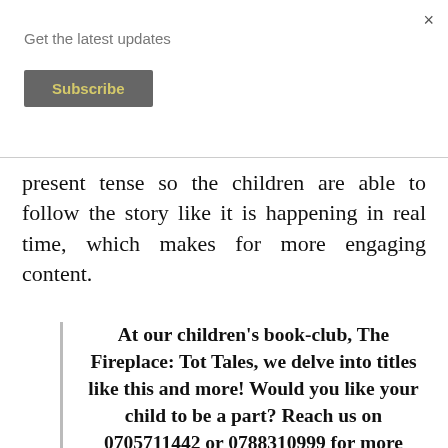Get the latest updates
Subscribe
present tense so the children are able to follow the story like it is happening in real time, which makes for more engaging content.
At our children’s book-club, The Fireplace: Tot Tales, we delve into titles like this and more! Would you like your child to be a part? Reach us on 0705711442 or 0788310999 for more information.